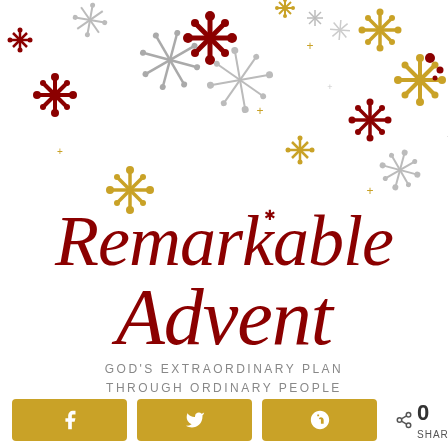[Figure (illustration): Decorative snowflakes in red, gold, and gray scattered across the top portion of the page]
Remarkable Advent
GOD'S EXTRAORDINARY PLAN THROUGH ORDINARY PEOPLE
[Figure (infographic): Social sharing buttons: Facebook, Twitter, Pinterest with gold background, and a share count showing 0 SHARES]